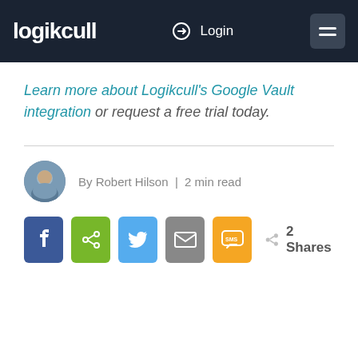logikcull | Login
Learn more about Logikcull's Google Vault integration or request a free trial today.
By Robert Hilson | 2 min read
[Figure (screenshot): Social share buttons: Facebook, Share, Twitter, Email, SMS, and 2 Shares count]